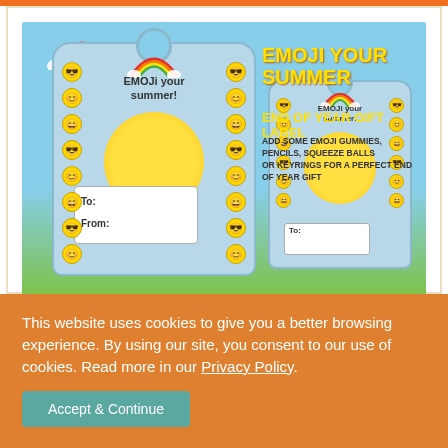[Figure (illustration): Emoji Your Summer End of Year Gift Label product image. Shows two gift label cards decorated with emoji faces on a blue/green gradient background. Text reads 'EMOJI YOUR SUMMER END OF YEAR GIFT LABEL - ADD SOME EMOJI GUMMIES, PENCILS, SQUEEZE BALLS OR KEYRINGS FOR A PERFECT END OF YEAR GIFT'. Cards have rainbow graphic, sun circle, and To/From fields.]
This website uses cookies to give you a better browsing experience. By using our site, you consent to our use of cookies. Read more in our Privacy Policy.
Accept & Continue